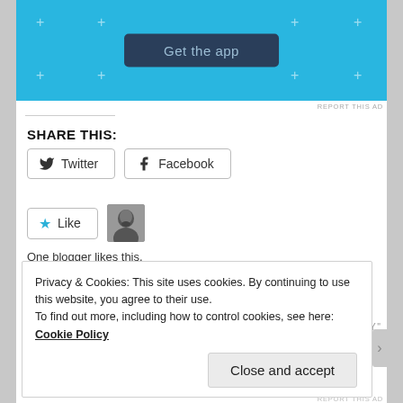[Figure (screenshot): Blue app advertisement banner with 'Get the app' button and decorative plus/star symbols]
SHARE THIS:
[Figure (screenshot): Twitter and Facebook share buttons]
[Figure (screenshot): Like button with star icon and user avatar thumbnail]
One blogger likes this.
This entry was posted in Sappy Family Ones by mikenuckols. Bookmark the permalink.
5 THOUGHTS ON "VENGEANCE AND LOSS IN NEW YORK CITY"
Privacy & Cookies: This site uses cookies. By continuing to use this website, you agree to their use.
To find out more, including how to control cookies, see here: Cookie Policy